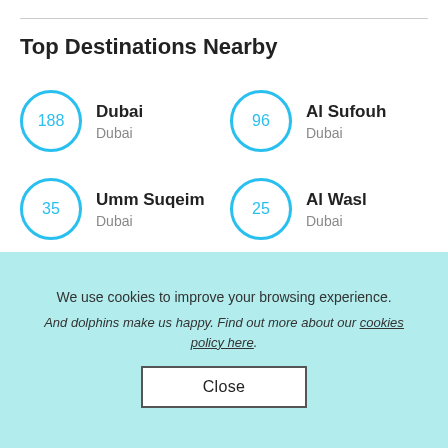Top Destinations Nearby
188 Dubai Dubai
96 Al Sufouh Dubai
35 Umm Suqeim Dubai
25 Al Wasl Dubai
15 Ghantoot
11 Jumeirah
We use cookies to improve your browsing experience. And dolphins make us happy. Find out more about our cookies policy here.
Close